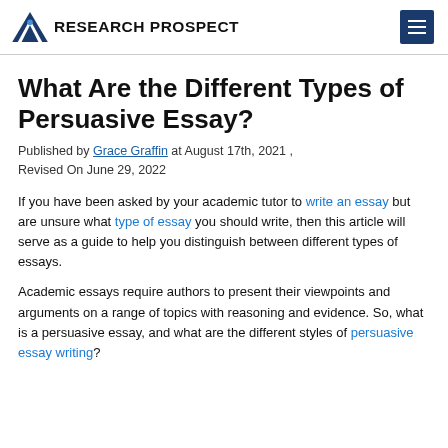RESEARCH PROSPECT
What Are the Different Types of Persuasive Essay?
Published by Grace Graffin at August 17th, 2021 , Revised On June 29, 2022
If you have been asked by your academic tutor to write an essay but are unsure what type of essay you should write, then this article will serve as a guide to help you distinguish between different types of essays.
Academic essays require authors to present their viewpoints and arguments on a range of topics with reasoning and evidence. So, what is a persuasive essay, and what are the different styles of persuasive essay writing?